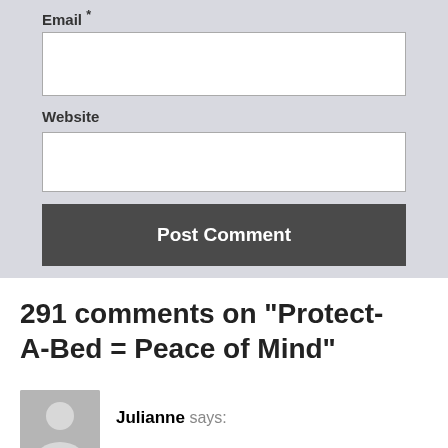Email *
Website
Post Comment
291 comments on “Protect-A-Bed = Peace of Mind”
Julianne says: